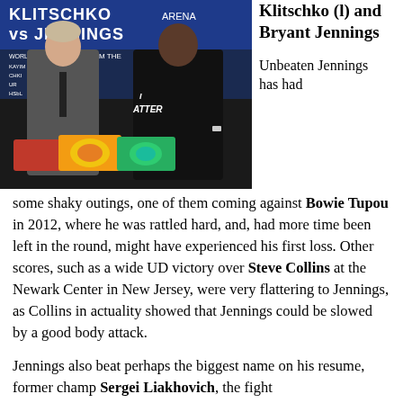[Figure (photo): Photo of Wladimir Klitschko (l) and Bryant Jennings standing together at a press conference, with championship belts visible in the foreground. Text banner in background reads 'KLITSCHKO vs JENNINGS'. Klitschko is in a suit with a tie; Jennings wears a black shirt.]
Klitschko (l) and Bryant Jennings
Unbeaten Jennings has had some shaky outings, one of them coming against Bowie Tupou in 2012, where he was rattled hard, and, had more time been left in the round, might have experienced his first loss. Other scores, such as a wide UD victory over Steve Collins at the Newark Center in New Jersey, were very flattering to Jennings, as Collins in actuality showed that Jennings could be slowed by a good body attack.
Jennings also beat perhaps the biggest name on his resume, former champ Sergei Liakhovich, the fight